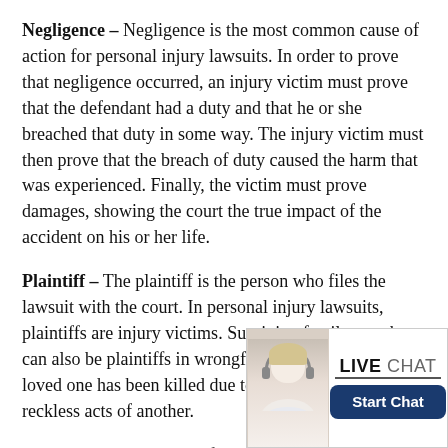Negligence – Negligence is the most common cause of action for personal injury lawsuits. In order to prove that negligence occurred, an injury victim must prove that the defendant had a duty and that he or she breached that duty in some way. The injury victim must then prove that the breach of duty caused the harm that was experienced. Finally, the victim must prove damages, showing the court the true impact of the accident on his or her life.
Plaintiff – The plaintiff is the person who files the lawsuit with the court. In personal injury lawsuits, plaintiffs are injury victims. Surviving family members can also be plaintiffs in wrongful death lawsuits when a loved one has been killed due to the negligent or reckless acts of another.
Soft Tissue Injuries – Soft tissue injuries may occur due to a single event (e.g., whiplash) or over a period of repetitive activity). Generally, soft tissue injuries are bruising and strains to the muscles, ligaments or tendons.
[Figure (other): Scroll-to-top button: grey square with upward chevron arrow]
[Figure (other): Live Chat widget showing a woman with headset, LIVE CHAT text, and Start Chat button]